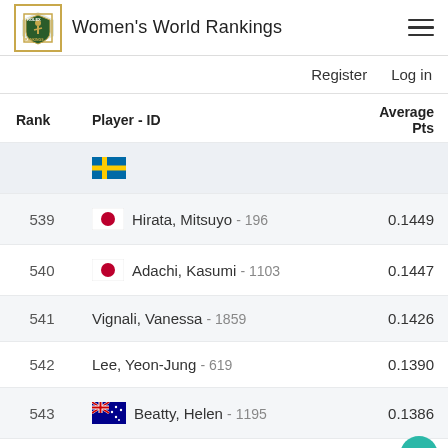Women's World Rankings
Register   Log in
| Rank | Player - ID | Average Pts |
| --- | --- | --- |
| 539 | Hirata, Mitsuyo - 196 | 0.1449 |
| 540 | Adachi, Kasumi - 1103 | 0.1447 |
| 541 | Vignali, Vanessa - 1859 | 0.1426 |
| 542 | Lee, Yeon-Jung - 619 | 0.1390 |
| 543 | Beatty, Helen - 1195 | 0.1386 |
| 544 | Wunsch, Xonia - 1958 | 0.1385 |